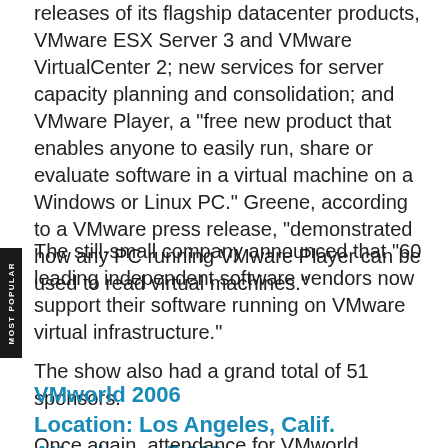releases of its flagship datacenter products, VMware ESX Server 3 and VMware VirtualCenter 2; new services for server capacity planning and consolidation; and VMware Player, a "free new product that enables anyone to easily run, share or evaluate software in a virtual machine on a Windows or Linux PC." Greene, according to a VMware press release, "demonstrated how any PC running VMware Player can be used to read virtual machines."
The still-small company announced that "60 leading independent software vendors now support their software running on VMware virtual infrastructure."
The show also had a grand total of 51 sponsors.
VMworld 2006
Location: Los Angeles, Calif.
Attendance: 7,000
Once again, attendance for VMworld doubled, this